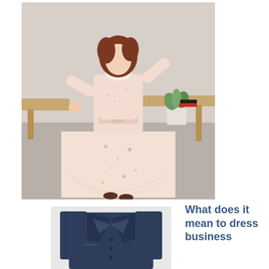[Figure (photo): Woman wearing a light pink floral chiffon midi dress with long sleeves and cinched waist, posing in what appears to be an indoor/café setting with wooden furniture and a plant in the background.]
[Figure (photo): Dark navy blue men's blazer/suit jacket shown from the front, partially cropped at bottom of image.]
What does it mean to dress business